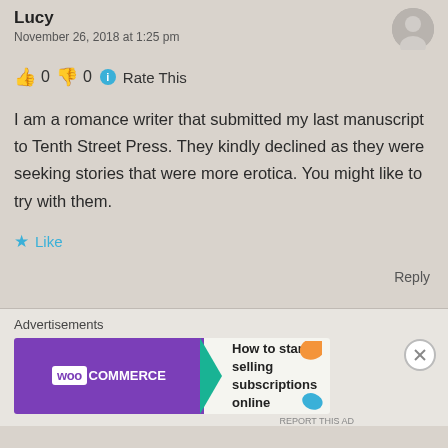Lucy
November 26, 2018 at 1:25 pm
👍 0 👎 0 ℹ Rate This
I am a romance writer that submitted my last manuscript to Tenth Street Press. They kindly declined as they were seeking stories that were more erotica. You might like to try with them.
★ Like
Reply
Advertisements
[Figure (screenshot): WooCommerce advertisement banner: purple left side with Woo logo and teal arrow, right side with text 'How to start selling subscriptions online' and decorative orange/teal shapes]